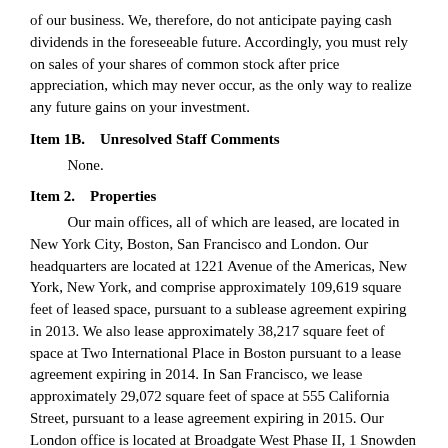of our business. We, therefore, do not anticipate paying cash dividends in the foreseeable future. Accordingly, you must rely on sales of your shares of common stock after price appreciation, which may never occur, as the only way to realize any future gains on your investment.
Item 1B.    Unresolved Staff Comments
None.
Item 2.    Properties
Our main offices, all of which are leased, are located in New York City, Boston, San Francisco and London. Our headquarters are located at 1221 Avenue of the Americas, New York, New York, and comprise approximately 109,619 square feet of leased space, pursuant to a sublease agreement expiring in 2013. We also lease approximately 38,217 square feet of space at Two International Place in Boston pursuant to a lease agreement expiring in 2014. In San Francisco, we lease approximately 29,072 square feet of space at 555 California Street, pursuant to a lease agreement expiring in 2015. Our London office is located at Broadgate West Phase II, 1 Snowden Street, 11th Floor, London, EC2A 2DQ and is subject to a lease agreement expiring in 2017. We believe that all of our properties and facilities are well maintained. We do not anticipate a need for additional office space in the near term.
Item 3.    Legal Proceedings
We face significant legal risks in our businesses and, in recent years, the volume of claims and amount of damages sought in litigation and regulatory...